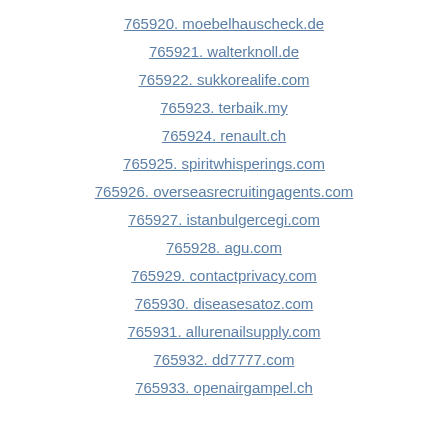765920. moebelhauscheck.de
765921. walterknoll.de
765922. sukkorealife.com
765923. terbaik.my
765924. renault.ch
765925. spiritwhisperings.com
765926. overseasrecruitingagents.com
765927. istanbulgercegi.com
765928. agu.com
765929. contactprivacy.com
765930. diseasesatoz.com
765931. allurenailsupply.com
765932. dd7777.com
765933. openairgampel.ch